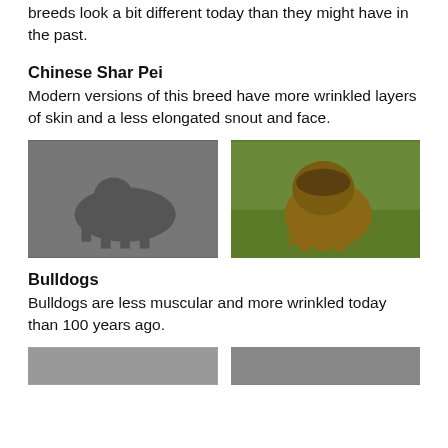breeds look a bit different today than they might have in the past.
Chinese Shar Pei
Modern versions of this breed have more wrinkled layers of skin and a less elongated snout and face.
[Figure (photo): Two photos side by side: left is a black-and-white historical photo of a Chinese Shar Pei dog standing outdoors; right is a color photo of a modern Chinese Shar Pei puppy with heavy wrinkles sitting on green grass.]
Bulldogs
Bulldogs are less muscular and more wrinkled today than 100 years ago.
[Figure (photo): Two photos side by side showing bulldogs, partially visible at the bottom of the page.]